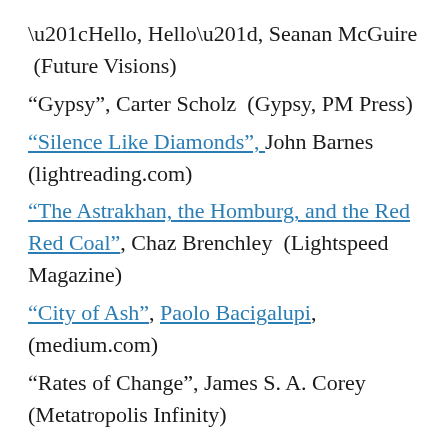“Hello, Hello”, Seanan McGuire (Future Visions)
“Gypsy”, Carter Scholz (Gypsy, PM Press)
“Silence Like Diamonds”, John Barnes (lightreading.com)
“The Astrakhan, the Homburg, and the Red Red Coal”, Chaz Brenchley (Lightspeed Magazine)
“City of Ash”, Paolo Bacigalupi, (medium.com)
“Rates of Change”, James S. A. Corey (Metatropolis Infinity)